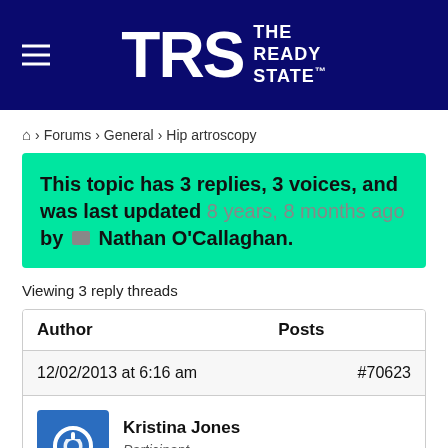[Figure (logo): TRS The Ready State logo on dark navy blue background with hamburger menu icon]
🏠 › Forums › General › Hip artroscopy
This topic has 3 replies, 3 voices, and was last updated 8 years, 8 months ago by Nathan O'Callaghan.
Viewing 3 reply threads
| Author | Posts |
| --- | --- |
| 12/02/2013 at 6:16 am | #70623 |
| Kristina Jones
Participant |  |